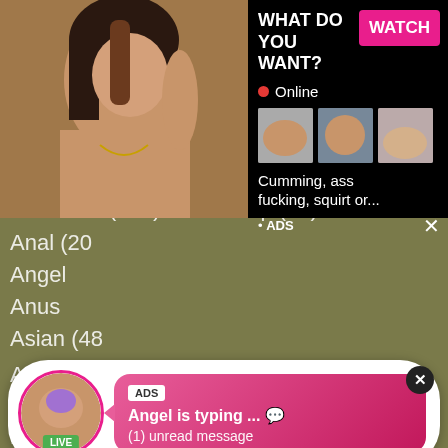Abused (0)
Adora
Africa
Aged
Amate
Amaz
American (370)
Kitchen (37)
Lap (40)
Anal (20
Angel
Anus
Asian (48
Ass (2767)
Lesbian (641)
Babe (650)
Lick (493)
Babysitter (22)
Lingerie (314)
Backroom (11)
Lips (52)
Backseat (0)
Live (172)
Ball (63)
Long (57)
[Figure (screenshot): Advertisement overlay showing webcam/adult content ad with WHAT DO YOU WANT? text, WATCH button, Online status, thumbnail images, and text 'Cumming, ass fucking, squirt or...' with ADS label]
[Figure (screenshot): Notification ad popup showing avatar with LIVE badge, ADS tag, 'Angel is typing ...' message and '(1) unread message' text on pink gradient bubble with X close button]